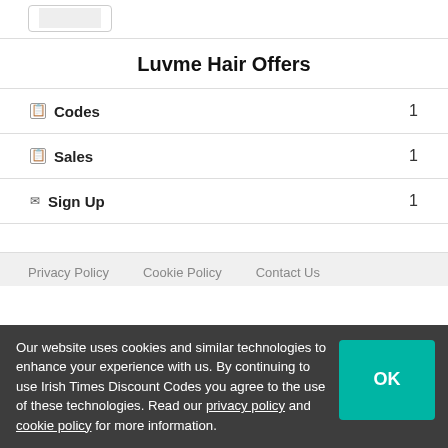[Figure (logo): Luvme Hair logo in a box at top left]
Luvme Hair Offers
🏷 Codes   1
🏷 Sales   1
✉ Sign Up   1
Privacy Policy   Cookie Policy   Contact Us
Our website uses cookies and similar technologies to enhance your experience with us. By continuing to use Irish Times Discount Codes you agree to the use of these technologies. Read our privacy policy and cookie policy for more information.